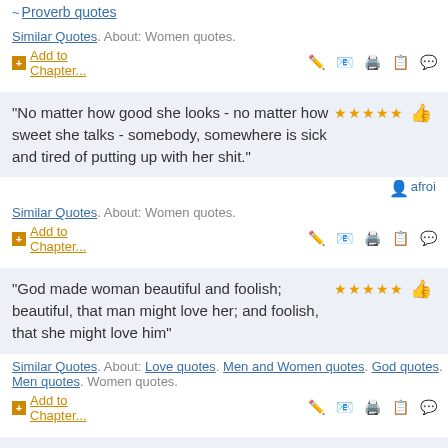~ Proverb quotes
Similar Quotes. About: Women quotes.
+ Add to Chapter...
“No matter how good she looks - no matter how sweet she talks - somebody, somewhere is sick and tired of putting up with her shit.”
afroi
Similar Quotes. About: Women quotes.
+ Add to Chapter...
“God made woman beautiful and foolish; beautiful, that man might love her; and foolish, that she might love him”
Similar Quotes. About: Love quotes. Men and Women quotes. God quotes. Men quotes. Women quotes.
+ Add to Chapter...
“Man loves little and often: Woman much and rarely”
Similar Quotes. About: Love quotes. Men and Women quotes. Women quotes.
+ Add to Chapter...